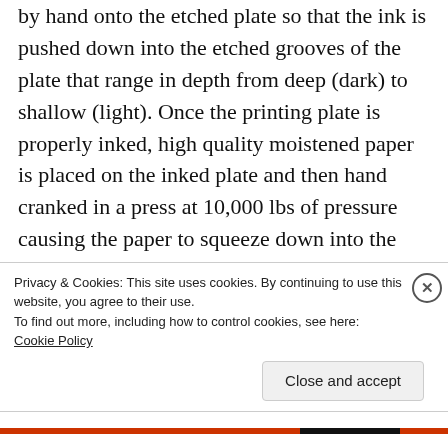by hand onto the etched plate so that the ink is pushed down into the etched grooves of the plate that range in depth from deep (dark) to shallow (light). Once the printing plate is properly inked, high quality moistened paper is placed on the inked plate and then hand cranked in a press at 10,000 lbs of pressure causing the paper to squeeze down into the grooves of the plate. After the paper fibers have absorbed the ink, the paper is carefully peeled off the plate leaving the image deeply embossed into the paper fibers creating a fine art print.
Privacy & Cookies: This site uses cookies. By continuing to use this website, you agree to their use.
To find out more, including how to control cookies, see here: Cookie Policy
Close and accept